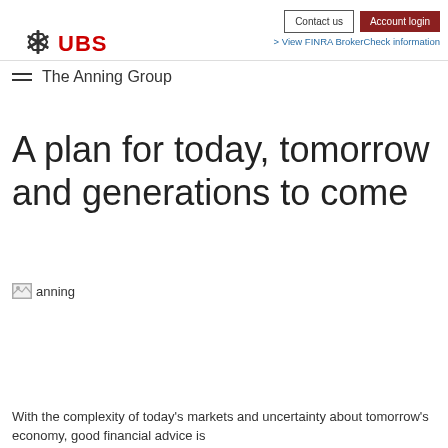Contact us | Account login | > View FINRA BrokerCheck information
[Figure (logo): UBS snowflake logo with UBS text in red]
The Anning Group
A plan for today, tomorrow and generations to come
[Figure (photo): Broken image placeholder labeled 'anning']
With the complexity of today's markets and uncertainty about tomorrow's economy, good financial advice is